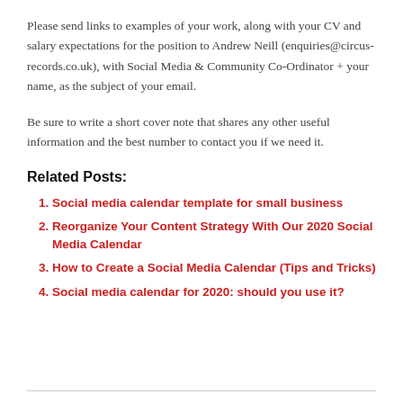Please send links to examples of your work, along with your CV and salary expectations for the position to Andrew Neill (enquiries@circus-records.co.uk), with Social Media & Community Co-Ordinator + your name, as the subject of your email.
Be sure to write a short cover note that shares any other useful information and the best number to contact you if we need it.
Related Posts:
Social media calendar template for small business
Reorganize Your Content Strategy With Our 2020 Social Media Calendar
How to Create a Social Media Calendar (Tips and Tricks)
Social media calendar for 2020: should you use it?